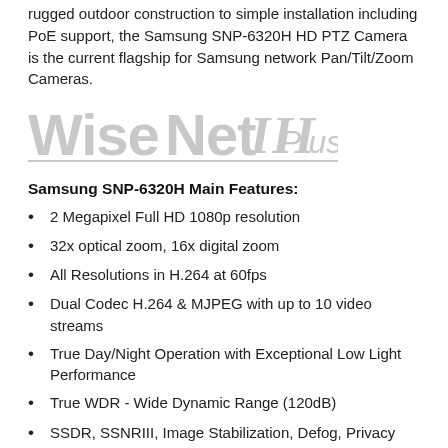rugged outdoor construction to simple installation including PoE support, the Samsung SNP-6320H HD PTZ Camera is the current flagship for Samsung network Pan/Tilt/Zoom Cameras.
[Figure (logo): WiseNet III Plus logo in light gray stylized text]
Samsung SNP-6320H Main Features:
2 Megapixel Full HD 1080p resolution
32x optical zoom, 16x digital zoom
All Resolutions in H.264 at 60fps
Dual Codec H.264 & MJPEG with up to 10 video streams
True Day/Night Operation with Exceptional Low Light Performance
True WDR - Wide Dynamic Range (120dB)
SSDR, SSNRIII, Image Stabilization, Defog, Privacy Masking
ONVIF Profile S compliant for simple integration with 3rd party IP Camera Systems
Auto tracking, Plus other Intelligent Video